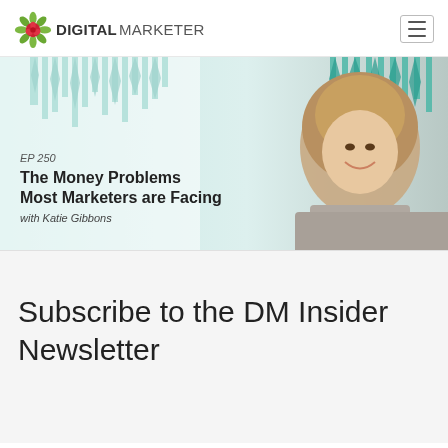[Figure (logo): DigitalMarketer logo with gear/flower icon and bold text DIGITAL MARKETER]
[Figure (photo): Podcast episode banner for EP 250 - The Money Problems Most Marketers are Facing with Katie Gibbons. Shows a woman smiling with teal audio waveform graphic background.]
Subscribe to the DM Insider Newsletter